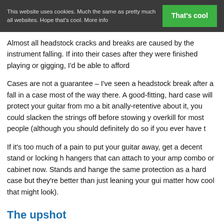This website uses cookies. Much the same as pretty much all websites. Hope that's cool. More info   That's cool
Almost all headstock cracks and breaks are caused by the instrument falling. If into their cases after they were finished playing or gigging, I'd be able to afford
Cases are not a guarantee – I've seen a headstock break after a fall in a case most of the way there. A good-fitting, hard case will protect your guitar from mo a bit anally-retentive about it, you could slacken the strings off before stowing y overkill for most people (although you should definitely do so if you ever have t
If it's too much of a pain to put your guitar away, get a decent stand or locking h hangers that can attach to your amp combo or cabinet now. Stands and hange the same protection as a hard case but they're better than just leaning your gui matter how cool that might look).
The upshot
Protect your guitar and you might never have to get its neck repaired. If the wo panic – things can be put right again. Make sure you trust whoever is repairing the only thing worse than having to get your neck repaired is having to get it do
If you've any questions, feel free to shout up in the comments below. I'll do my